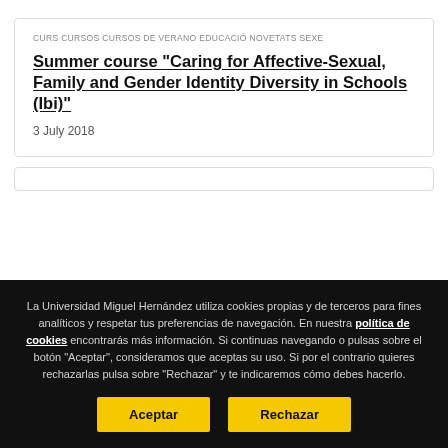CURS CURSOS CURSOS DE VERANO EDUCACIÓ NOVETATS SEXE
Summer course “Caring for Affective-Sexual, Family and Gender Identity Diversity in Schools (Ibi)”
3 July 2018
La Universidad Miguel Hernández utiliza cookies propias y de terceros para fines analíticos y respetar tus preferencias de navegación. En nuestra política de cookies encontrarás más información. Si continuas navegando o pulsas sobre el botón “Aceptar”, consideramos que aceptas su uso. Si por el contrario quieres rechazarlas pulsa sobre “Rechazar” y te indicaremos cómo debes hacerlo.